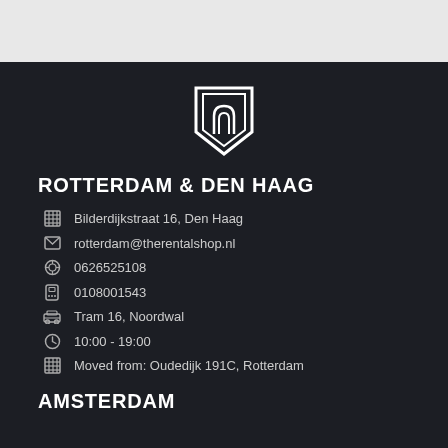[Figure (logo): Shield-shaped logo with house/arch icon in white outline on dark background]
ROTTERDAM & DEN HAAG
Bilderdijkstraat 16, Den Haag
rotterdam@therentalshop.nl
0626525108
0108001543
Tram 16, Noordwal
10:00 - 19:00
Moved from: Oudedijk 191C, Rotterdam
AMSTERDAM